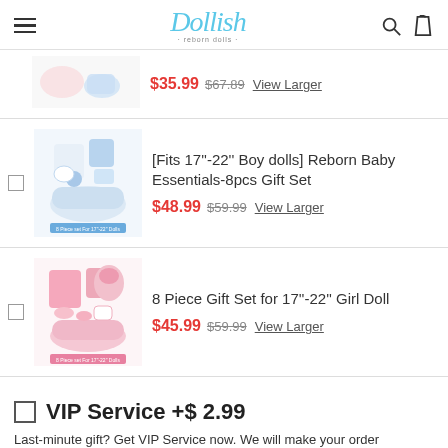Dollish — navigation header with hamburger menu, logo, search and bag icons
$35.99 $67.89 View Larger
[Fits 17"-22" Boy dolls] Reborn Baby Essentials-8pcs Gift Set
$48.99 $59.99 View Larger
8 Piece Gift Set for 17"-22" Girl Doll
$45.99 $59.99 View Larger
VIP Service +$ 2.99
Last-minute gift? Get VIP Service now. We will make your order